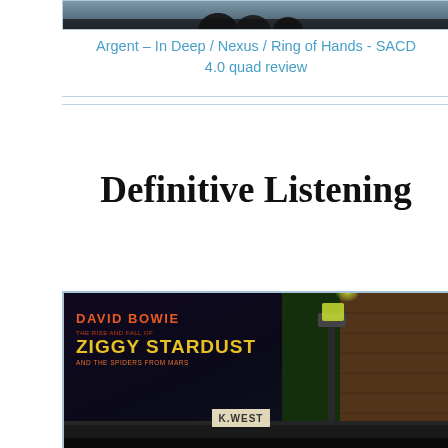[Figure (photo): Partial top of a photo showing silhouetted figures against a blue-gray background]
Argent – In Deep / Nexus / Ring of Hands - SACD 4.0 quad review
Definitive Listening
[Figure (photo): Album cover of David Bowie – The Rise and Fall of Ziggy Stardust and the Spiders from Mars, showing a dark street scene at night with a lamp post, brick buildings, and a K.WEST sign, with orange and yellow text overlay]